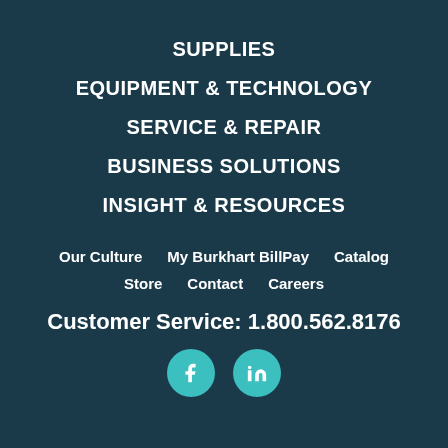SUPPLIES
EQUIPMENT & TECHNOLOGY
SERVICE & REPAIR
BUSINESS SOLUTIONS
INSIGHT & RESOURCES
Our Culture    My Burkhart BillPay    Catalog    Store    Contact    Careers
Customer Service: 1.800.562.8176
[Figure (illustration): Facebook and LinkedIn social media icons (teal circles with white f and in logos)]